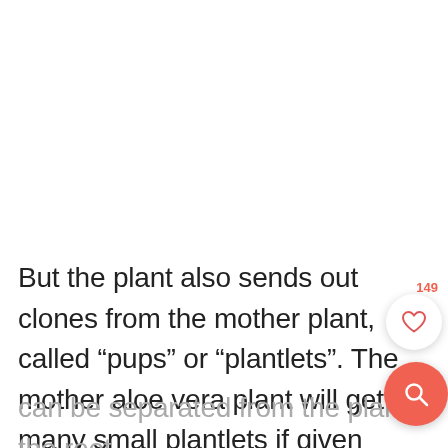But the plant also sends out clones from the mother plant, called “pups” or “plantlets”. The mother aloe vera plant will get many small plantlets if given enough space. Th
can be separated from the plant at the root zone. Each plantlet will have its own root
[Figure (illustration): White circular button with heart icon (like/favorite button) with '149' count label in red above it, and a salmon/red circular search button below it with a magnifying glass icon.]